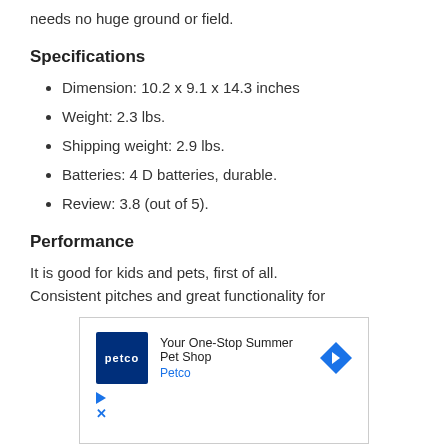needs no huge ground or field.
Specifications
Dimension: 10.2 x 9.1 x 14.3 inches
Weight: 2.3 lbs.
Shipping weight: 2.9 lbs.
Batteries: 4 D batteries, durable.
Review: 3.8 (out of 5).
Performance
It is good for kids and pets, first of all. Consistent pitches and great functionality for
[Figure (other): Advertisement banner for Petco: 'Your One-Stop Summer Pet Shop' with Petco logo and navigation arrow icon]